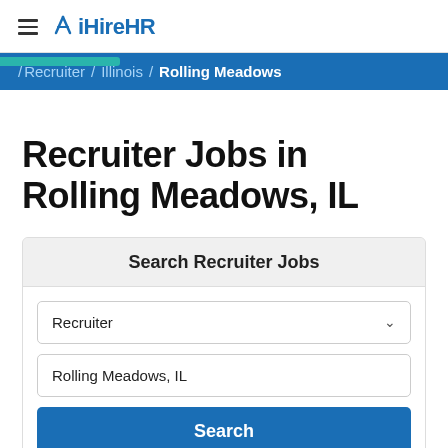iHireHR
/ Recruiter / Illinois / Rolling Meadows
Recruiter Jobs in Rolling Meadows, IL
Search Recruiter Jobs
Recruiter
Rolling Meadows, IL
Search
1-15 of 314 Jobs